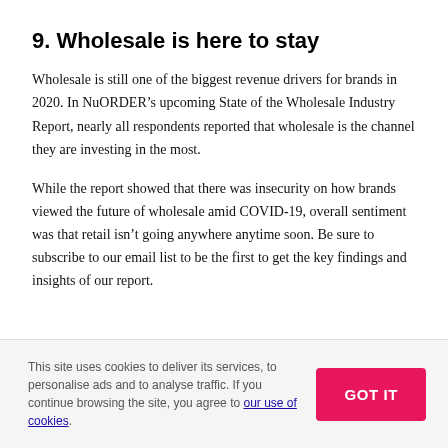9. Wholesale is here to stay
Wholesale is still one of the biggest revenue drivers for brands in 2020. In NuORDER’s upcoming State of the Wholesale Industry Report, nearly all respondents reported that wholesale is the channel they are investing in the most.
While the report showed that there was insecurity on how brands viewed the future of wholesale amid COVID-19, overall sentiment was that retail isn’t going anywhere anytime soon. Be sure to subscribe to our email list to be the first to get the key findings and insights of our report.
This site uses cookies to deliver its services, to personalise ads and to analyse traffic. If you continue browsing the site, you agree to our use of cookies.